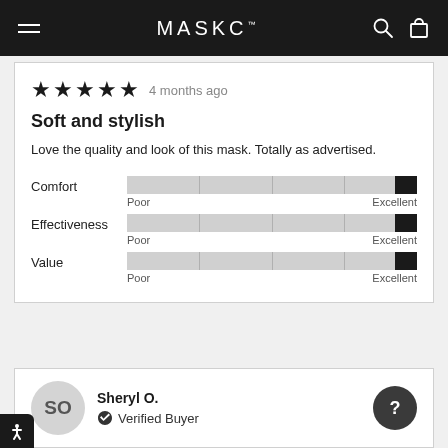MASKC
★★★★★  4 months ago
Soft and stylish
Love the quality and look of this mask. Totally as advertised.
[Figure (infographic): Rating bars for Comfort, Effectiveness, and Value, each showing a slider near the Excellent end of a Poor-to-Excellent scale.]
Sheryl O.
Verified Buyer